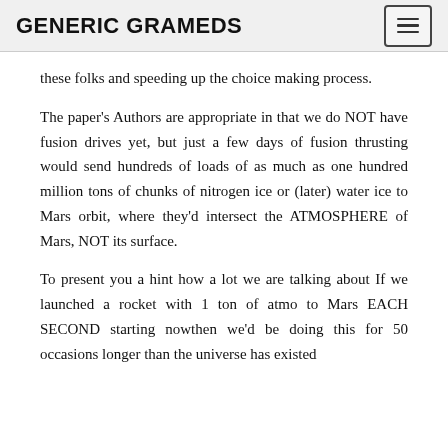GENERIC GRAMEDS
these folks and speeding up the choice making process.
The paper's Authors are appropriate in that we do NOT have fusion drives yet, but just a few days of fusion thrusting would send hundreds of loads of as much as one hundred million tons of chunks of nitrogen ice or (later) water ice to Mars orbit, where they'd intersect the ATMOSPHERE of Mars, NOT its surface.
To present you a hint how a lot we are talking about If we launched a rocket with 1 ton of atmo to Mars EACH SECOND starting nowthen we'd be doing this for 50 occasions longer than the universe has existed